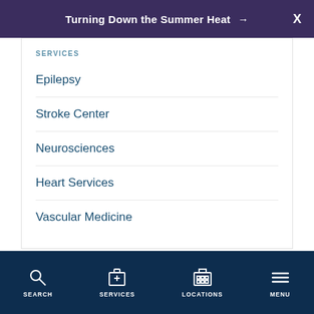Turning Down the Summer Heat →  X
SERVICES
Epilepsy
Stroke Center
Neurosciences
Heart Services
Vascular Medicine
SEARCH  SERVICES  LOCATIONS  MENU